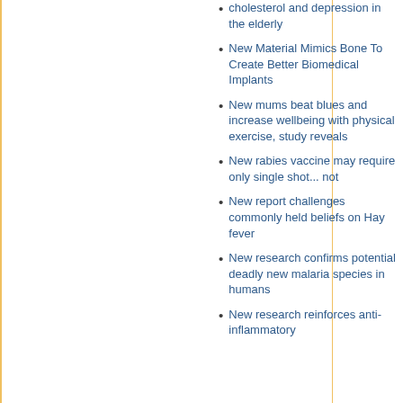cholesterol and depression in the elderly
New Material Mimics Bone To Create Better Biomedical Implants
New mums beat blues and increase wellbeing with physical exercise, study reveals
New rabies vaccine may require only single shot... not
New report challenges commonly held beliefs on Hay fever
New research confirms potential deadly new malaria species in humans
New research reinforces anti-inflammatory